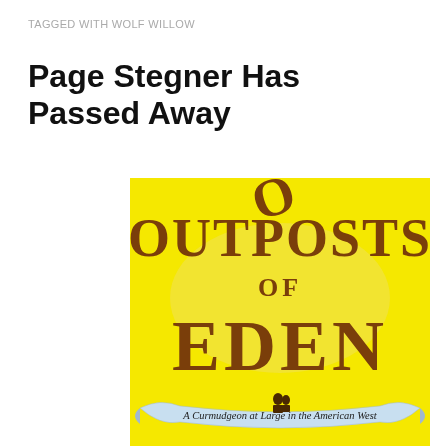TAGGED WITH WOLF WILLOW
Page Stegner Has Passed Away
[Figure (photo): Book cover of 'Outposts of Eden' — bright yellow background with large brown serif text reading OUTPOSTS OF EDEN, and a banner at the bottom reading 'A Curmudgeon at Large in the American West']